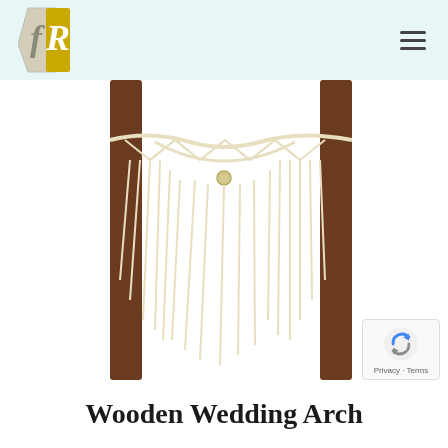FR logo and navigation header
[Figure (photo): A wooden wedding arch with macrame/rope decorative hanging between two dark wooden posts. The macrame features knotted rope patterns with long hanging strands. The background is white.]
[Figure (logo): reCAPTCHA badge with Google reCAPTCHA logo showing a checkmark/shield icon and text reading Privacy - Terms]
Wooden Wedding Arch